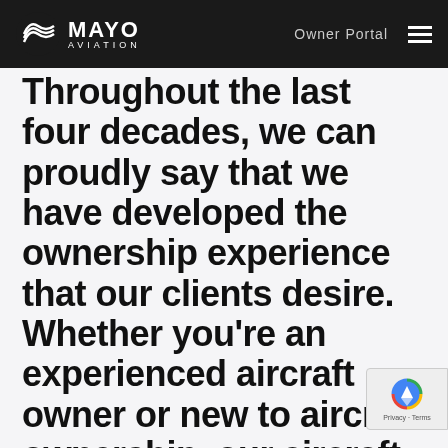Mayo Aviation — Owner Portal
Throughout the last four decades, we can proudly say that we have developed the ownership experience that our clients desire. Whether you're an experienced aircraft owner or new to aircraft ownership, our aircraft management solutions protect you, your guests, and your asset.
Headquartered in Denver since 1978, Mayo Aviation has built a solid reputation as a leader in aircraft management services by delivering customized solutions centered on safety and exceeding expectations. Reach out to discuss a custom
[Figure (logo): reCAPTCHA privacy badge overlay in bottom right corner]